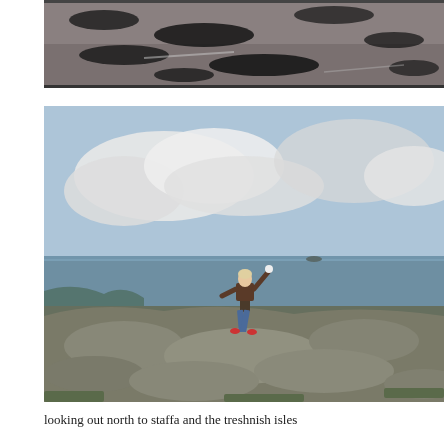[Figure (photo): Black and white aerial or close-up photograph of a beach/sandy shore with dark seaweed or debris scattered across the sand]
[Figure (photo): Colour photograph of a person standing on a rocky hilltop with arms raised, with the sea and clouds visible in the background, looking north towards Staffa and the Treshnish Isles]
looking out north to staffa and the treshnish isles